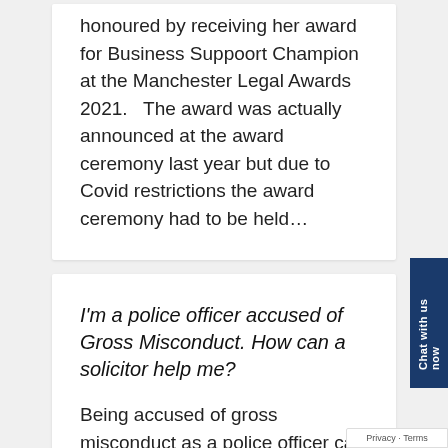honoured by receiving her award for Business Suppoort Champion at the Manchester Legal Awards 2021.   The award was actually announced at the award ceremony last year but due to Covid restrictions the award ceremony had to be held…
I'm a police officer accused of Gross Misconduct. How can a solicitor help me?
Being accused of gross misconduct as a police officer can have serious